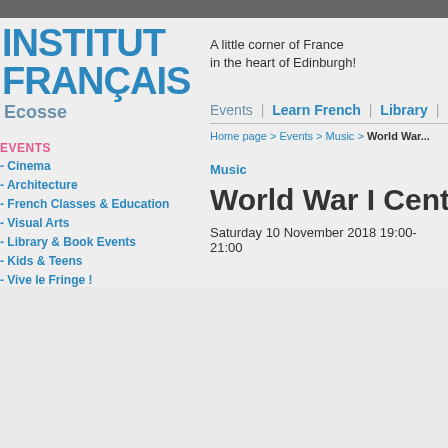[Figure (logo): Institut Français Ecosse logo - large blue bold text]
A little corner of France in the heart of Edinburgh!
Events | Learn French | Library
Home page > Events > Music > World War I Cente...
Music
World War I Cente...
Saturday 10 November 2018 19:00-21:00
EVENTS
- Cinema
- Architecture
- French Classes & Education
- Visual Arts
- Library & Book Events
- Kids & Teens
- Vive le Fringe !